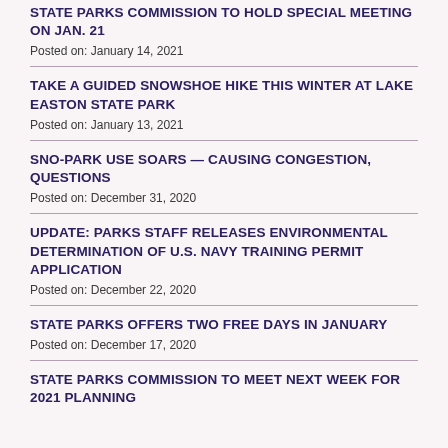STATE PARKS COMMISSION TO HOLD SPECIAL MEETING ON JAN. 21
Posted on: January 14, 2021
TAKE A GUIDED SNOWSHOE HIKE THIS WINTER AT LAKE EASTON STATE PARK
Posted on: January 13, 2021
SNO-PARK USE SOARS — CAUSING CONGESTION, QUESTIONS
Posted on: December 31, 2020
UPDATE: PARKS STAFF RELEASES ENVIRONMENTAL DETERMINATION OF U.S. NAVY TRAINING PERMIT APPLICATION
Posted on: December 22, 2020
STATE PARKS OFFERS TWO FREE DAYS IN JANUARY
Posted on: December 17, 2020
STATE PARKS COMMISSION TO MEET NEXT WEEK FOR 2021 PLANNING